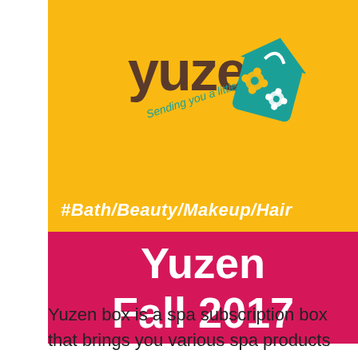[Figure (logo): Yuzen logo on yellow background with teal house/bag graphic and text 'Sending you a little zen']
#Bath/Beauty/Makeup/Hair
Yuzen
Fall 2017
Yuzen box is a spa subscription box that brings you various spa products each season. Each box includes high-quality natural and organic personal care products.